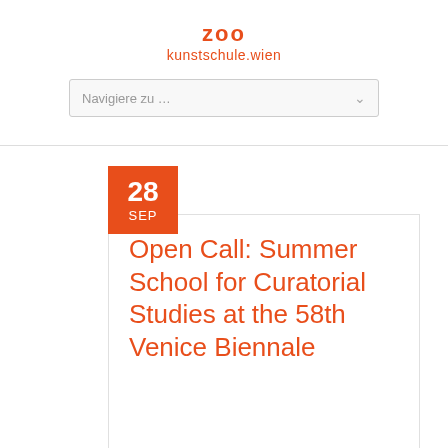zoo
kunstschule.wien
Navigiere zu …
28 SEP
Open Call: Summer School for Curatorial Studies at the 58th Venice Biennale